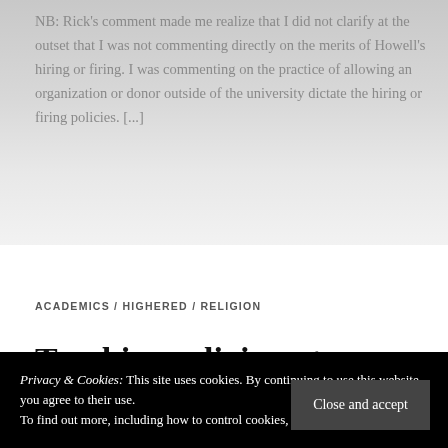NB: Rick's comment made me realize that I did not clarify at the outset that I was not commenting directly on the merits of Howell's hiring or firing. I was commenting on the practice of allowing an organization or donor outside of the university dictate the hiring or firing policies. [...]
ACADEMICS / HIGHERED / RELIGION
Teaching religion at a secular university
Privacy & Cookies: This site uses cookies. By continuing to use this website, you agree to their use.
To find out more, including how to control cookies, see here: Cookie Policy